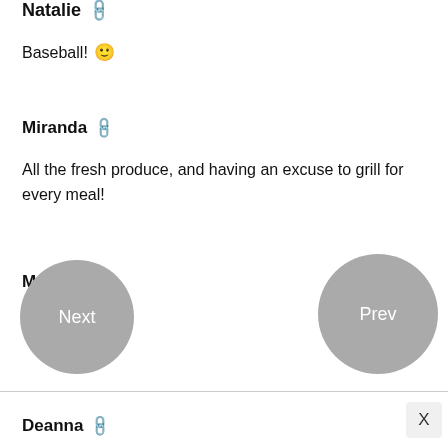Natalie 🔗
Baseball! 🙂
Miranda 🔗
All the fresh produce, and having an excuse to grill for every meal!
Maria 🔗
My birthday <3
Deanna 🔗